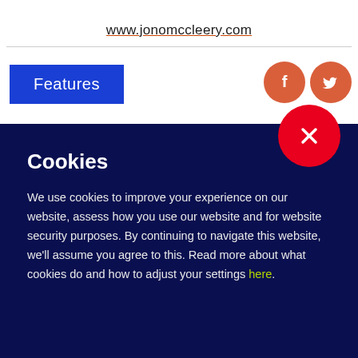www.jonomccleery.com
Features
Cookies
We use cookies to improve your experience on our website, assess how you use our website and for website security purposes. By continuing to navigate this website, we'll assume you agree to this. Read more about what cookies do and how to adjust your settings here.